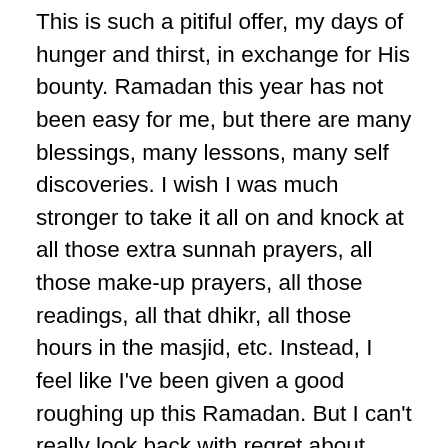This is such a pitiful offer, my days of hunger and thirst, in exchange for His bounty. Ramadan this year has not been easy for me, but there are many blessings, many lessons, many self discoveries. I wish I was much stronger to take it all on and knock at all those extra sunnah prayers, all those make-up prayers, all those readings, all that dhikr, all those hours in the masjid, etc. Instead, I feel like I've been given a good roughing up this Ramadan. But I can't really look back with regret about how I fail short or look to the future with too much worry wondering if I will fall short. I hope next Ramadan I will have the strength to offer more to serve my Lord and His creation much better than I have done in the past. I know I have a long way to go, but I keep looking at each step in front of me. For me, that is the best way to travel down this road. I'm in no place to feel like I have anything on lock. No self righteousness here. Ramadan is indeed the blessed month in...